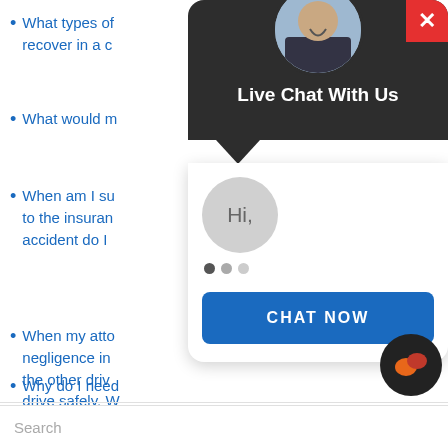What types of damages can I recover in a car accident claim?
What would my case be worth?
When am I supposed to report to the insurance company after an accident do I have to do that?
When my attorney establishes negligence in the accident, does the other driver have a duty to drive safely. What does that prove?
Why do I need...
[Figure (screenshot): Live chat popup widget with dark header showing 'Live Chat With Us', profile photo, red X close button, Hi greeting bubble, typing dots, and a blue CHAT NOW button]